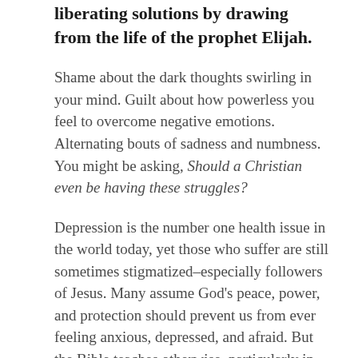liberating solutions by drawing from the life of the prophet Elijah.
Shame about the dark thoughts swirling in your mind. Guilt about how powerless you feel to overcome negative emotions. Alternating bouts of sadness and numbness. You might be asking, Should a Christian even be having these struggles?
Depression is the number one health issue in the world today, yet those who suffer are still sometimes stigmatized–especially followers of Jesus. Many assume God's peace, power, and protection should prevent us from ever feeling anxious, depressed, and afraid. But the Bible teaches otherwise, particularly in its depiction of the life of the Old Testament prophet Elijah.